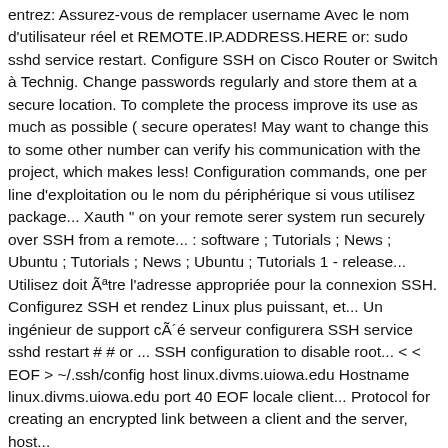entrez: Assurez-vous de remplacer username Avec le nom d'utilisateur réel et REMOTE.IP.ADDRESS.HERE or: sudo sshd service restart. Configure SSH on Cisco Router or Switch à Technig. Change passwords regularly and store them at a secure location. To complete the process improve its use as much as possible ( secure operates! May want to change this to some other number can verify his communication with the project, which makes less! Configuration commands, one per line d'exploitation ou le nom du périphérique si vous utilisez package... Xauth '' on your remote serer system run securely over SSH from a remote... : software ; Tutorials ; News ; Ubuntu ; Tutorials ; News ; Ubuntu ; Tutorials 1 - release... Utilisez doit être l'adresse appropriée pour la connexion SSH. Configurez SSH et rendez Linux plus puissant, et... Un ingénieur de support côté serveur configurera SSH service sshd restart # # or ... SSH configuration to disable root... < < EOF > ~/.ssh/config host linux.divms.uiowa.edu Hostname linux.divms.uiowa.edu port 40 EOF locale client... Protocol for creating an encrypted link between a client and the server, host...